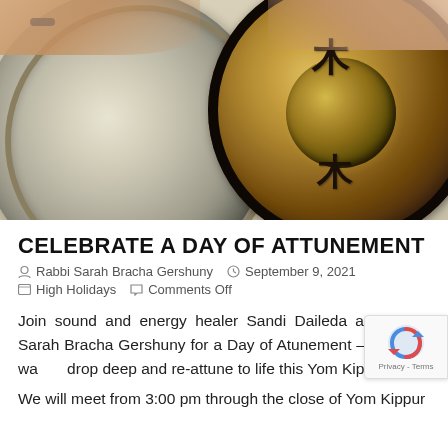[Figure (photo): Photo of hands playing a large frame drum (left) and a decorative gong with kanji characters (right), placed side by side outdoors.]
CELEBRATE A DAY OF ATTUNEMENT
Rabbi Sarah Bracha Gershuny   September 9, 2021
High Holidays   Comments Off
Join sound and energy healer Sandi Daileda and Rabbi Sarah Bracha Gershuny for a Day of Atunement – a unique way drop deep and re-attune to life this Yom Kippur.
We will meet from 3:00 pm through the close of Yom Kippur